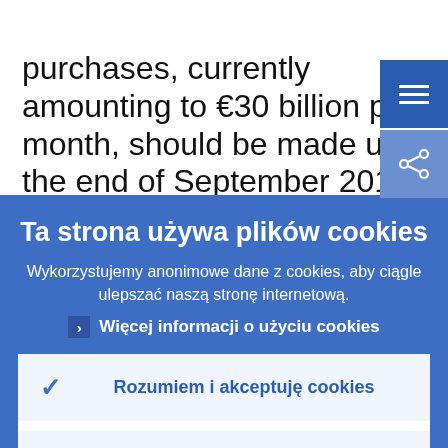purchases, currently amounting to €30 billion per month, should be made until the end of September 2018. If necessary, the purchases can be extended beyond that until the Governing Council sees a
Ta strona używa plików cookies
Wykorzystujemy anonimowe dane z cookies, aby ciągle ulepszać naszą stronę internetową.
Więcej informacji o użyciu cookies
Rozumiem i akceptuję cookies
Nie akceptuję cookies